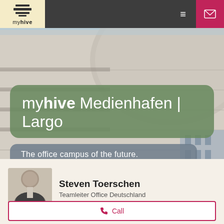[Figure (photo): Modern curved office building exterior photographed from below against a blue sky. The building has curved architectural lines with balconies and glass facades.]
myhive
myhive Medienhafen | Largo
The office campus of the future.
Steven Toerschen
Teamleiter Office Deutschland
[Figure (photo): Professional headshot of Steven Toerschen, a man in a dark suit jacket with light shirt, smiling.]